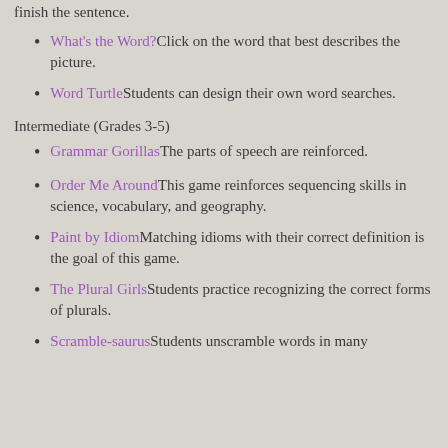finish the sentence.
What's the Word? Click on the word that best describes the picture.
Word Turtle Students can design their own word searches.
Intermediate (Grades 3-5)
Grammar Gorillas The parts of speech are reinforced.
Order Me Around This game reinforces sequencing skills in science, vocabulary, and geography.
Paint by Idiom Matching idioms with their correct definition is the goal of this game.
The Plural Girls Students practice recognizing the correct forms of plurals.
Scramble-saurus Students unscramble words in many